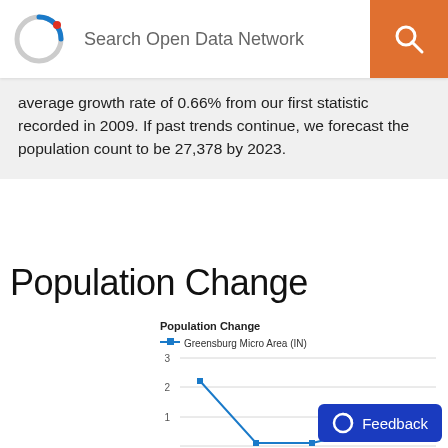Search Open Data Network
average growth rate of 0.66% from our first statistic recorded in 2009. If past trends continue, we forecast the population count to be 27,378 by 2023.
Population Change
[Figure (line-chart): Population Change]